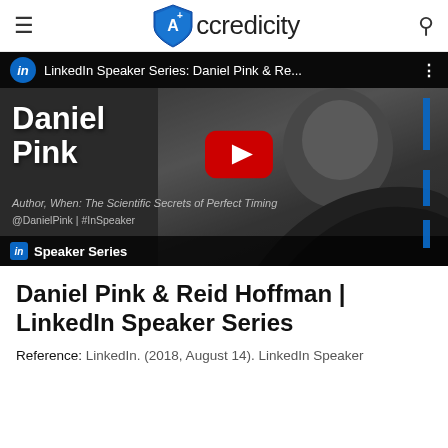Accredicity
[Figure (screenshot): LinkedIn Speaker Series video thumbnail showing Daniel Pink, with text 'Daniel Pink', 'Author, When: The Scientific Secrets of Perfect Timing', '@DanielPink | #InSpeaker', LinkedIn Speaker Series branding, and a YouTube play button overlay.]
Daniel Pink & Reid Hoffman | LinkedIn Speaker Series
Reference: LinkedIn. (2018, August 14). LinkedIn Speaker